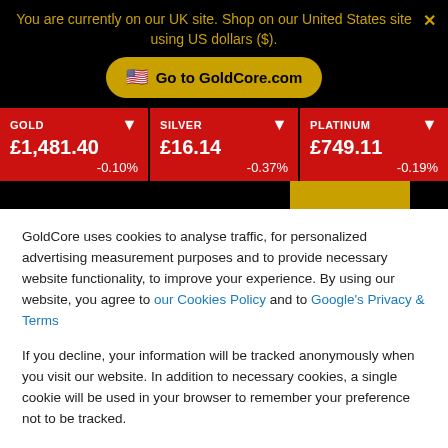You are currently on our UK site. Shop on our United States site using US dollars ($).
Go to GoldCore.com
| Metal | Price | Change |
| --- | --- | --- |
| GOLD | £1,481.40 | -0.10% |
| SILVER | £16.14 | -0.37% |
| PLATINUM | £749.11 | -0.19% |
GoldCore uses cookies to analyse traffic, for personalized advertising measurement purposes and to provide necessary website functionality, to improve your experience. By using our website, you agree to our Cookies Policy and to Google's Privacy & Terms
If you decline, your information will be tracked anonymously when you visit our website. In addition to necessary cookies, a single cookie will be used in your browser to remember your preference not to be tracked.
Cookies settings
Accept All
Decline All